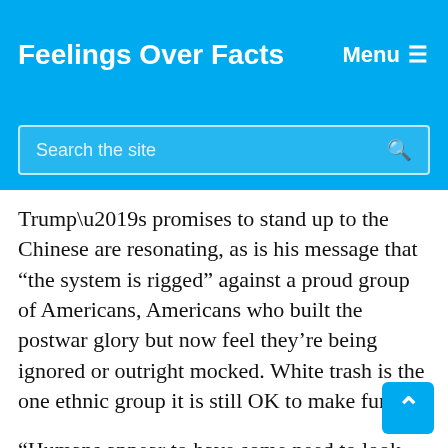Feelings Over Facts
Search the site
Trump’s promises to stand up to the Chinese are resonating, as is his message that “the system is rigged” against a proud group of Americans, Americans who built the postwar glory but now feel they’re being ignored or outright mocked. White trash is the one ethnic group it is still OK to make fun of.
“Humans appear to have some need to look down on someone; there’s just a basic tribalistic impulse in all of us.” Vance recently told The